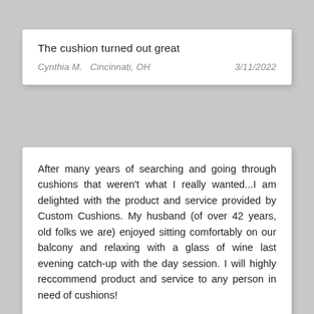The cushion turned out great
Cynthia M.   Cincinnati, OH	3/11/2022
After many years of searching and going through cushions that weren't what I really wanted...I am delighted with the product and service provided by Custom Cushions. My husband (of over 42 years, old folks we are) enjoyed sitting comfortably on our balcony and relaxing with a glass of wine last evening catch-up with the day session. I will highly reccommend product and service to any person in need of cushions!